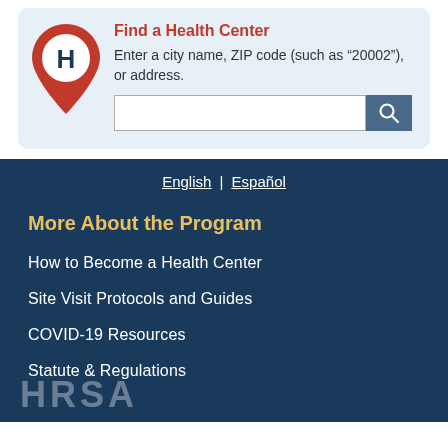[Figure (other): Health center finder widget with map pin icon showing H, red bold title 'Find a Health Center', descriptive text, and a search input with button]
Find a Health Center
Enter a city name, ZIP code (such as “20002”), or address.
English | Español
More About the Program
How to Become a Health Center
Site Visit Protocols and Guides
COVID-19 Resources
Statute & Regulations
[Figure (logo): HRSA logo letters partially visible at bottom]